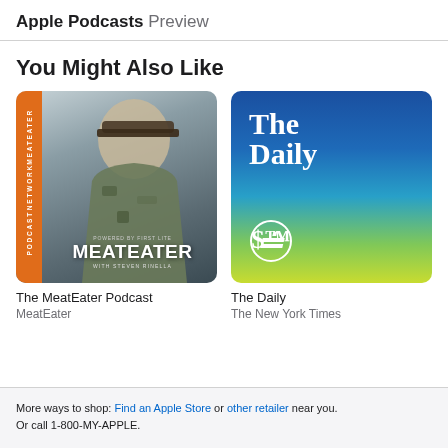Apple Podcasts Preview
You Might Also Like
[Figure (photo): MeatEater Podcast cover art: man in camo hat smiling, orange sidebar with MEATEATER NETWORK text, large MEATEATER WITH STEVEN RINELLA text at bottom]
The MeatEater Podcast
MeatEater
[Figure (photo): The Daily podcast cover art: blue to yellow-green gradient background, The Daily text in white serif font, NYT logo at bottom left]
The Daily
The New York Times
More ways to shop: Find an Apple Store or other retailer near you. Or call 1-800-MY-APPLE.